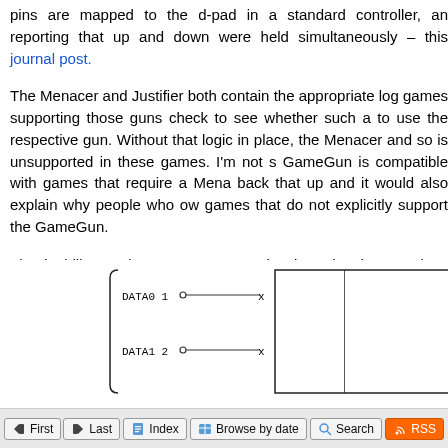pins are mapped to the d-pad in a standard controller, an reporting that up and down were held simultaneously – this journal post.
The Menacer and Justifier both contain the appropriate log games supporting those guns check to see whether such a to use the respective gun. Without that logic in place, the Menacer and so is unsupported in these games. I'm not s GameGun is compatible with games that require a Mena back that up and it would also explain why people who ow games that do not explicitly support the GameGun.
The inability to detect a GameGun is also why the American plugged in, even if you don't have anything plugged into makes a passive adaptor from the Master System Light Ph
[Figure (engineering-diagram): Circuit diagram showing DATA0 pin 1 and DATA1 pin 2 connected via lines to X nodes leading to a component on the right.]
First  Last  Index  Browse by date  Search  RSS